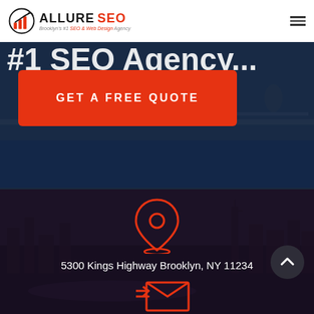[Figure (logo): Allure SEO logo with bar chart icon and tagline: Brooklyn's #1 SEO & Web Design Agency]
[Figure (photo): Hero section with office/workspace background photo and overlay, showing partial large heading text]
GET A FREE QUOTE
[Figure (photo): Contact section with city skyline background, location pin icon, address text, scroll-up button, and partial email icon at bottom]
5300 Kings Highway Brooklyn, NY 11234